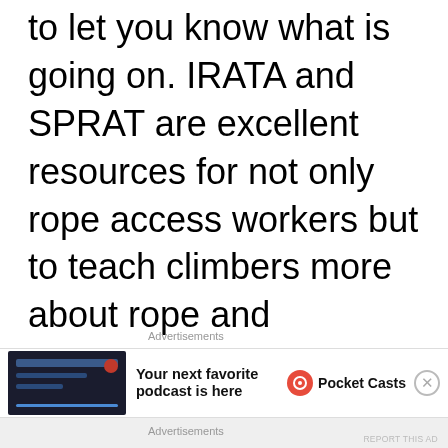to let you know what is going on. IRATA and SPRAT are excellent resources for not only rope access workers but to teach climbers more about rope and controlled descent. We can all learn from what they have to share.
Advertisements
[Figure (other): Advertisement banner for Pocket Casts podcast app showing a dark-themed app screenshot thumbnail, headline 'Your next favorite podcast is here', and the Pocket Casts logo with brand name.]
Advertisements